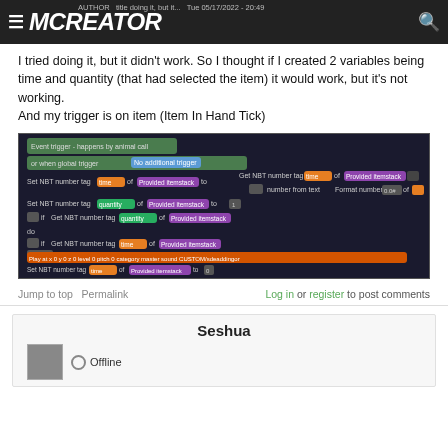MCREATOR | AUTHOR | title doing it, but it... | Tue 05/17/2022 - 20:49
I tried doing it, but it didn't work. So I thought if I created 2 variables being time and quantity (that had selected the item) it would work, but it's not working.
And my trigger is on item (Item In Hand Tick)
[Figure (screenshot): MCreator block-based code editor showing event trigger and NBT number tag variable assignments with play sound block]
Jump to top   Permalink
Log in or register to post comments
Seshua
Offline